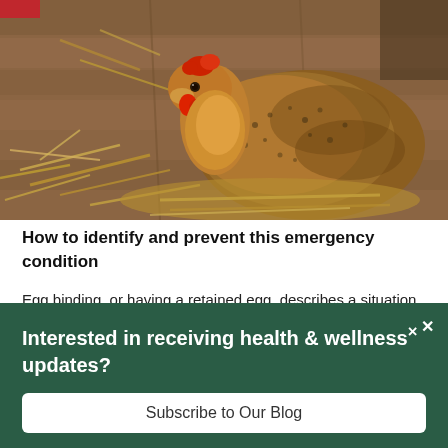[Figure (photo): A brown/golden hen sitting on straw hay inside a wooden barn coop, facing left with red comb visible]
How to identify and prevent this emergency condition
Egg binding, or having a retained egg, describes a situation where an egg is physically stuck inside the hen. When hens are "in lay" they should lay an egg
Interested in receiving health & wellness updates?
Subscribe to Our Blog